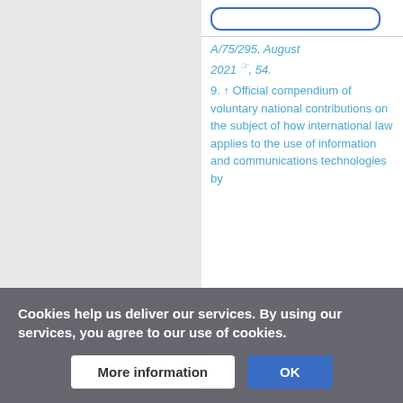[Figure (screenshot): Search bar input field with blue border]
A/75/295, August 2021, 54.
9. ↑ Official compendium of voluntary national contributions on the subject of how international law applies to the use of information and communications technologies by
Cookies help us deliver our services. By using our services, you agree to our use of cookies.
More information | OK